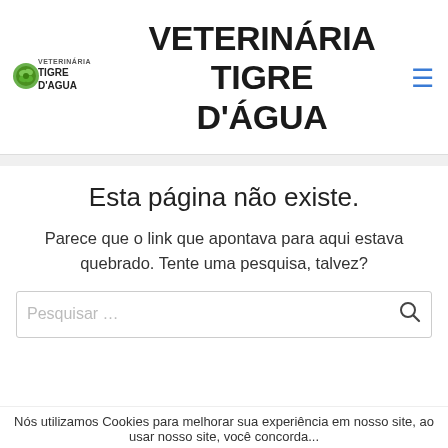VETERINÁRIA TIGRE D'ÁGUA
Esta página não existe.
Parece que o link que apontava para aqui estava quebrado. Tente uma pesquisa, talvez?
Pesquisar …
Nós utilizamos Cookies para melhorar sua experiência em nosso site, ao usar nosso site, você concorda...